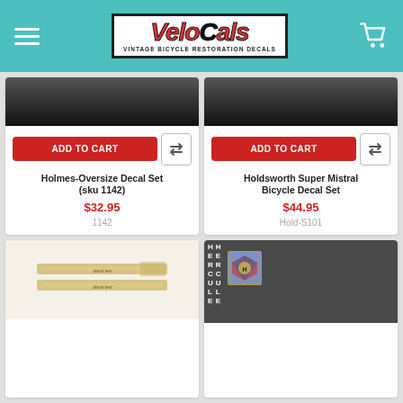VeloCals - VINTAGE BICYCLE RESTORATION DECALS
[Figure (screenshot): Product card: Holmes-Oversize Decal Set (sku 1142) - dark product image, ADD TO CART button, price $32.95, SKU 1142]
[Figure (screenshot): Product card: Holdsworth Super Mistral Bicycle Decal Set - dark product image, ADD TO CART button, price $44.95, SKU Hold-S101]
[Figure (screenshot): Product card: bottom left - product image showing gold/beige decal strips on white background]
[Figure (screenshot): Product card: bottom right - Hercules bicycle decals with vertical letters H-E-R-C-U-L-E and coat of arms badge on dark grey background]